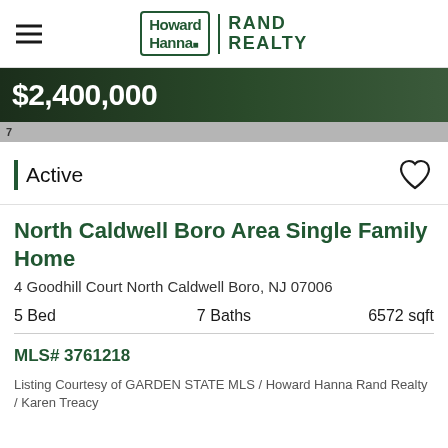Howard Hanna | RAND REALTY
$2,400,000
7
Active
North Caldwell Boro Area Single Family Home
4 Goodhill Court North Caldwell Boro, NJ 07006
5 Bed   7 Baths   6572 sqft
MLS# 3761218
Listing Courtesy of GARDEN STATE MLS / Howard Hanna Rand Realty / Karen Treacy